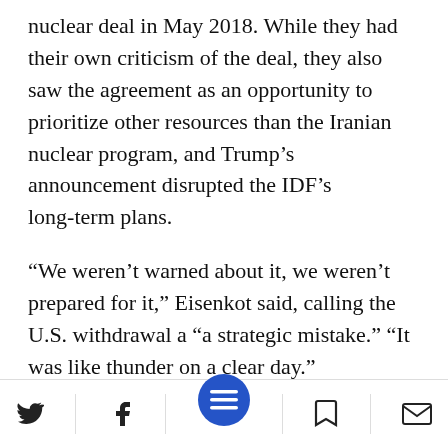nuclear deal in May 2018. While they had their own criticism of the deal, they also saw the agreement as an opportunity to prioritize other resources than the Iranian nuclear program, and Trump's announcement disrupted the IDF's long-term plans.
“We weren’t warned about it, we weren’t prepared for it,” Eisenkot said, calling the U.S. withdrawal a “a strategic mistake.” “It was like thunder on a clear day.”
Several months earlier, in November 2021, former Defense Minister Moshe Ya’alon told
social share bar with Twitter, Facebook, menu, bookmark, email icons